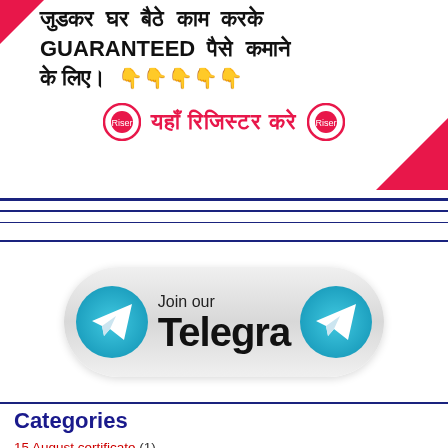[Figure (infographic): Hindi promotional banner with text about working from home and earning money GUARANTEED, with register button and pink triangles]
[Figure (infographic): Join our Telegram button with Telegram logo icons on both sides on a grey gradient pill-shaped button]
Categories
15 August certificate (1)
Aadhar / pan card service (11)
Aadhar card information (7)